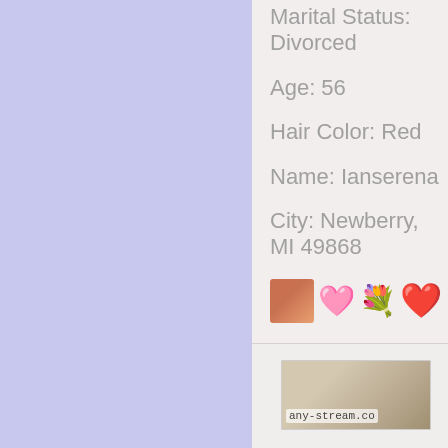Marital Status: Divorced
Age: 56
Hair Color: Red
Name: Ianserena
City: Newberry, MI 49868
[Figure (photo): Small thumbnail photo of a woman, pink heart emoji, flower bouquet emoji, red heart emoji in a row]
[Figure (photo): Partial photo of a person with blonde hair, with watermark text 'any-stream.co']